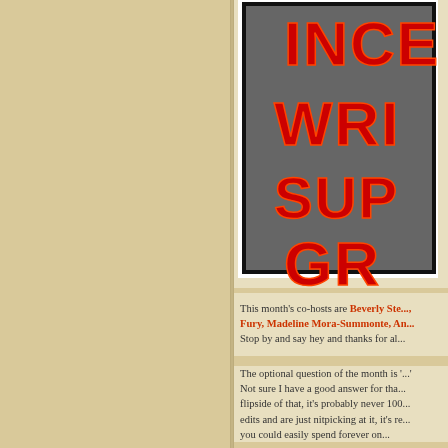[Figure (photo): Partially visible book or graphic with large red neon-style text on dark background showing partial words: INCE, WRI, SUP, GR]
This month's co-hosts are Beverly Ste..., Fury, Madeline Mora-Summonte, An... Stop by and say hey and thanks for al...
The optional question of the month is '...' Not sure I have a good answer for tha... flipside of that, it's probably never 100... edits and are just nitpicking at it, it's re... you could easily spend forever on...